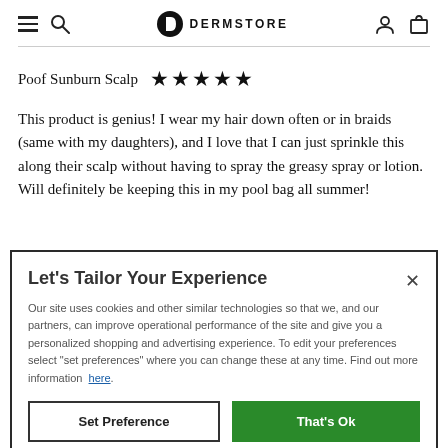DERMSTORE (navigation bar with hamburger menu, search, logo, user icon, cart icon)
Poof Sunburn Scalp ★★★★★
This product is genius! I wear my hair down often or in braids (same with my daughters), and I love that I can just sprinkle this along their scalp without having to spray the greasy spray or lotion. Will definitely be keeping this in my pool bag all summer!
Let's Tailor Your Experience
Our site uses cookies and other similar technologies so that we, and our partners, can improve operational performance of the site and give you a personalized shopping and advertising experience. To edit your preferences select "set preferences" where you can change these at any time. Find out more information here.
Set Preference | That's Ok